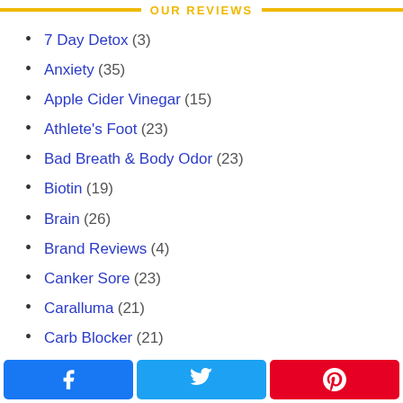OUR REVIEWS
7 Day Detox (3)
Anxiety (35)
Apple Cider Vinegar (15)
Athlete's Foot (23)
Bad Breath & Body Odor (23)
Biotin (19)
Brain (26)
Brand Reviews (4)
Canker Sore (23)
Caralluma (21)
Carb Blocker (21)
CLA (23)
Share buttons: Facebook, Twitter, Pinterest